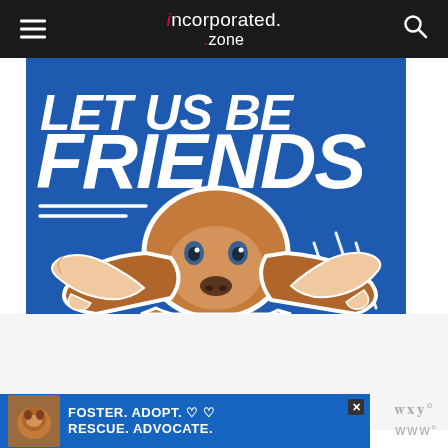incorporated .zone
[Figure (illustration): Blue promotional image with text 'LET US BE FRIENDS' and a basset hound dog with its ears being spread by human hands, white outline cutout style on blue background]
[Figure (advertisement): White/grey advertisement area with small branded badge icon in bottom right]
From a trader's point of view, they
[Figure (advertisement): Blue banner advertisement with dog photo and text 'FOSTER. ADOPT. RESCUE. ADVOCATE.' with heart symbols and close button]